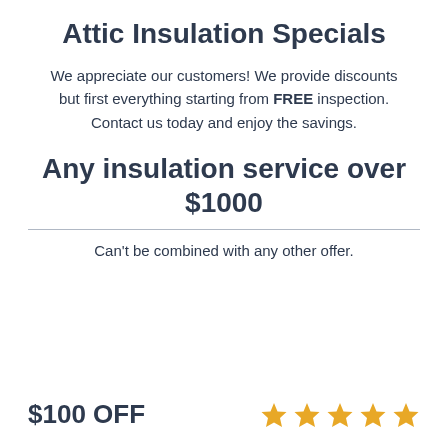Attic Insulation Specials
We appreciate our customers! We provide discounts but first everything starting from FREE inspection. Contact us today and enjoy the savings.
Any insulation service over $1000
Can’t be combined with any other offer.
$100 OFF
[Figure (illustration): Five gold star rating icons in a row]